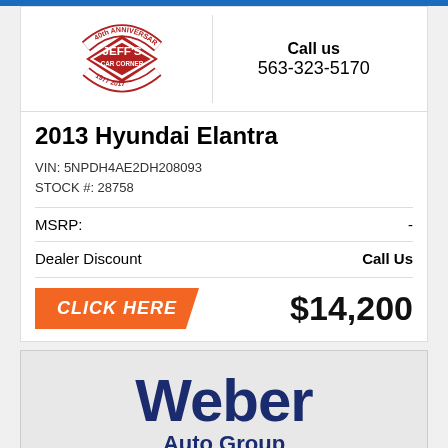[Figure (logo): Jeff's Car Corner 40th Anniversary logo, red and white, years 1977-2017]
Call us
563-323-5170
2013 Hyundai Elantra
VIN: 5NPDH4AE2DH208093
STOCK #: 28758
| MSRP: | - |
| Dealer Discount | Call Us |
CLICK HERE
$14,200
[Figure (photo): Weber Auto Group dealership interior photo with large blue Weber Auto Group sign and a car visible at the bottom]